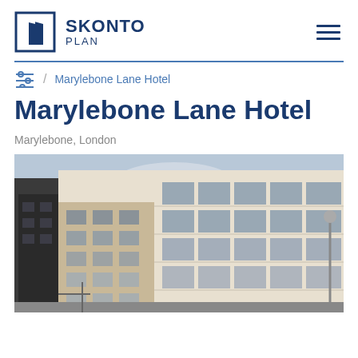[Figure (logo): Skonto Plan logo with door icon and text SKONTO PLAN]
Marylebone Lane Hotel
Marylebone Lane Hotel
Marylebone, London
[Figure (photo): Exterior photograph of Marylebone Lane Hotel building, a modern multi-storey hotel with large glass windows and stone facade, street level view looking upward]